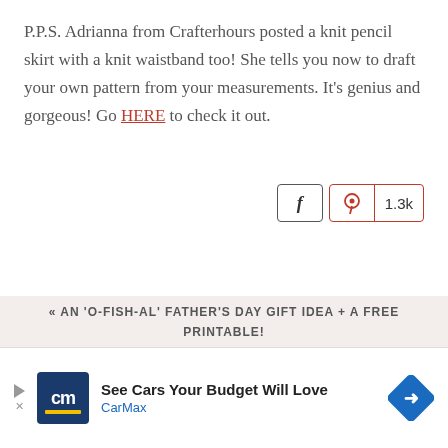P.P.S. Adrianna from Crafterhours posted a knit pencil skirt with a knit waistband too! She tells you now to draft your own pattern from your measurements. It’s genius and gorgeous! Go HERE to check it out.
[Figure (other): Social sharing buttons: Facebook button (f icon) and Pinterest button (P icon) with count 1.3k]
« AN ‘O-FISH-AL’ FATHER’S DAY GIFT IDEA + A FREE PRINTABLE!
[Figure (other): CarMax advertisement banner: 'See Cars Your Budget Will Love' with CarMax logo and blue diamond arrow icon]